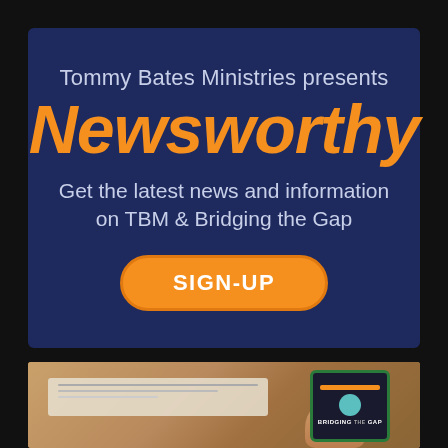[Figure (infographic): Tommy Bates Ministries presents Newsworthy advertisement banner. Dark navy blue background with orange italic bold 'Newsworthy' title, subtitle 'Get the latest news and information on TBM & Bridging the Gap', and an orange pill-shaped SIGN-UP button.]
[Figure (photo): Photo showing a laptop screen and a hand holding a smartphone displaying 'Bridging the Gap' content with orange header bar and teal circle logo element.]